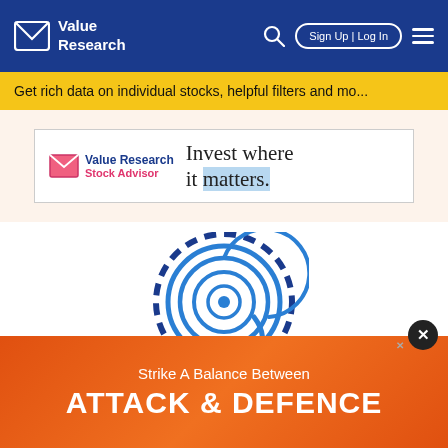[Figure (screenshot): Value Research website navigation bar with logo, search icon, Sign Up | Log In button, and hamburger menu on blue background]
Get rich data on individual stocks, helpful filters and mo...
[Figure (logo): Value Research Stock Advisor advertisement banner: logo with envelope icon, brand name, and tagline 'Invest where it matters.']
[Figure (illustration): Circular fingerprint/maze-like illustration in blue on white background]
[Figure (infographic): Orange advertisement banner reading 'Strike A Balance Between ATTACK & DEFENCE']